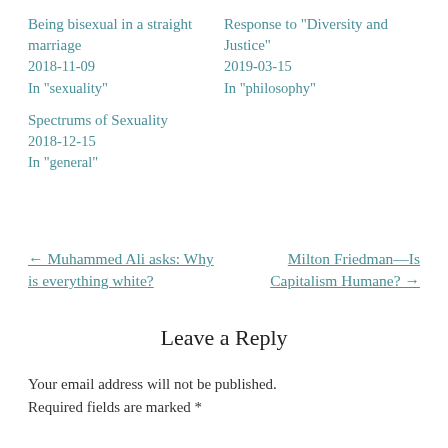Being bisexual in a straight marriage
2018-11-09
In "sexuality"
Response to “Diversity and Justice”
2019-03-15
In "philosophy"
Spectrums of Sexuality
2018-12-15
In "general"
← Muhammed Ali asks: Why is everything white?
Milton Friedman—Is Capitalism Humane? →
Leave a Reply
Your email address will not be published. Required fields are marked *